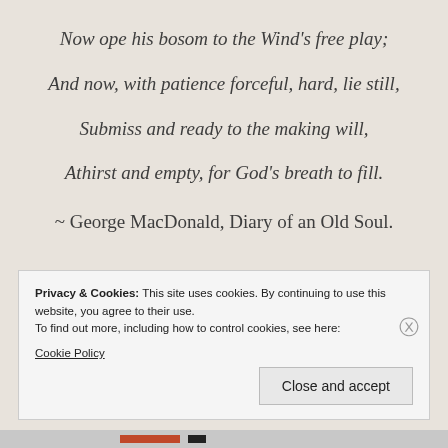Now ope his bosom to the Wind's free play;
And now, with patience forceful, hard, lie still,
Submiss and ready to the making will,
Athirst and empty, for God's breath to fill.
~ George MacDonald, Diary of an Old Soul.
Privacy & Cookies: This site uses cookies. By continuing to use this website, you agree to their use.
To find out more, including how to control cookies, see here:
Cookie Policy
Close and accept